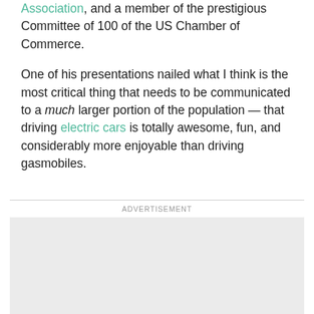Association, and a member of the prestigious Committee of 100 of the US Chamber of Commerce.

One of his presentations nailed what I think is the most critical thing that needs to be communicated to a much larger portion of the population — that driving electric cars is totally awesome, fun, and considerably more enjoyable than driving gasmobiles.
[Figure (other): Advertisement placeholder box (gray rectangle) with 'ADVERTISEMENT' label above it.]